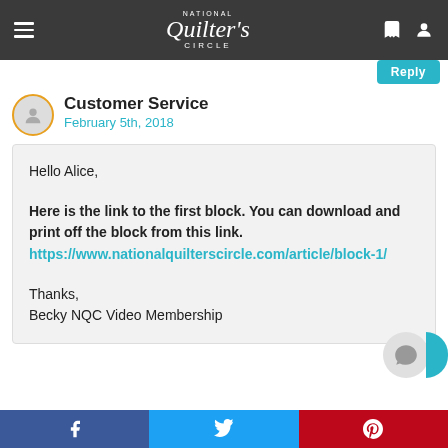National Quilters Circle
Reply
Customer Service
February 5th, 2018
Hello Alice,

Here is the link to the first block. You can download and print off the block from this link. https://www.nationalquilterscircle.com/article/block-1/

Thanks,
Becky NQC Video Membership
f  Twitter  Pinterest